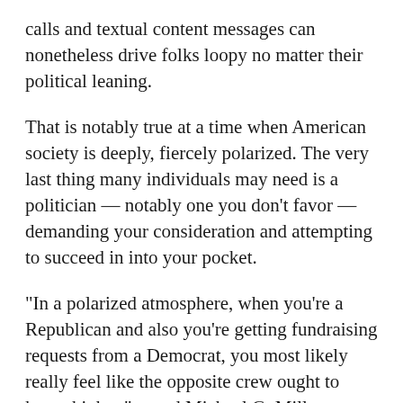calls and textual content messages can nonetheless drive folks loopy no matter their political leaning.
That is notably true at a time when American society is deeply, fiercely polarized. The very last thing many individuals may need is a politician — notably one you don't favor — demanding your consideration and attempting to succeed in into your pocket.
“In a polarized atmosphere, when you’re a Republican and also you’re getting fundraising requests from a Democrat, you most likely really feel like the opposite crew ought to know higher,” stated Michael G. Miller, an assistant professor of political science at Barnard School.
“Nevertheless,” he informed me, “there’s an actual temptation for a marketing campaign to get as a lot cash as it may.”